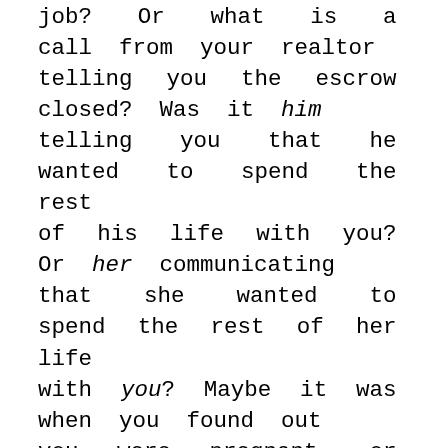job? Or what is a call from your realtor telling you the escrow closed? Was it him telling you that he wanted to spend the rest of his life with you? Or her communicating that she wanted to spend the rest of her life with you? Maybe it was when you found out you were pregnant, or when a doctor called to tell you that the surgery was a total success.

All of these are incredible pieces of news, but none of them even comes close to the great news that God had sent a Savior for our benefit. Luke 2: 10-11 “But the angel said to them, ‘Do not be afraid; for behold, I bring you good news of great joy which will